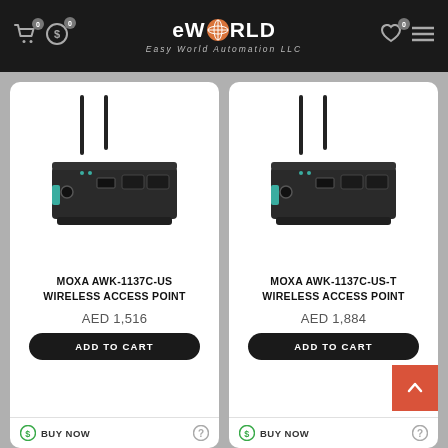eWORLD Easy World Automation LLC
[Figure (photo): Moxa AWK-1137C-US wireless access point device - dark colored industrial router with two antennas]
MOXA AWK-1137C-US WIRELESS ACCESS POINT
AED 1,516
ADD TO CART
BUY NOW
[Figure (photo): Moxa AWK-1137C-US-T wireless access point device - dark colored industrial router with two antennas]
MOXA AWK-1137C-US-T WIRELESS ACCESS POINT
AED 1,884
ADD TO CART
BUY NOW